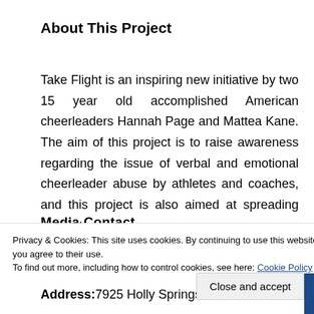About This Project
Take Flight is an inspiring new initiative by two 15 year old accomplished American cheerleaders Hannah Page and Mattea Kane. The aim of this project is to raise awareness regarding the issue of verbal and emotional cheerleader abuse by athletes and coaches, and this project is also aimed at spreading positivity.
Media Contact
Address: 7925 Holly Springs Rd
Privacy & Cookies: This site uses cookies. By continuing to use this website, you agree to their use.
To find out more, including how to control cookies, see here: Cookie Policy
Close and accept